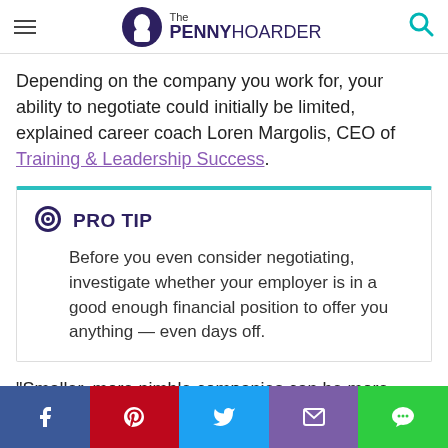The Penny Hoarder
Depending on the company you work for, your ability to negotiate could initially be limited, explained career coach Loren Margolis, CEO of Training & Leadership Success.
PRO TIP
Before you even consider negotiating, investigate whether your employer is in a good enough financial position to offer you anything — even days off.
“Smaller, more nimble companies can be more flexible in terms of certain perks,” Margolis said. “For structured, more